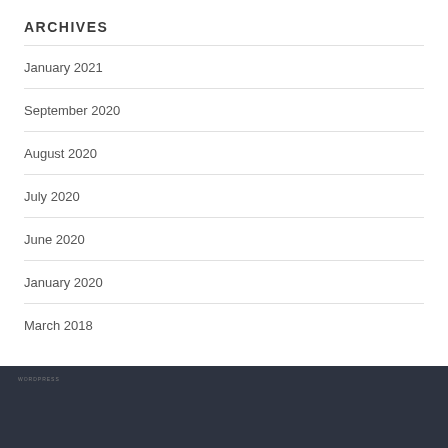ARCHIVES
January 2021
September 2020
August 2020
July 2020
June 2020
January 2020
March 2018
WordPress